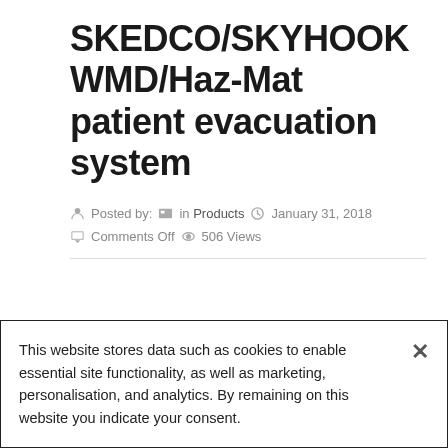SKEDCO/SKYHOOK WMD/Haz-Mat patient evacuation system
Posted by:  in Products  January 31, 2018  Comments Off  506 Views
This website stores data such as cookies to enable essential site functionality, as well as marketing, personalisation, and analytics. By remaining on this website you indicate your consent.